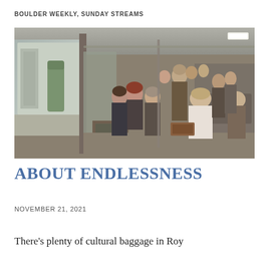BOULDER WEEKLY, SUNDAY STREAMS
[Figure (photo): Interior of a tram or bus crowded with passengers, view from the front looking back. People sitting and standing in vintage/period clothing. Outside windows show an urban plaza or street scene.]
ABOUT ENDLESSNESS
NOVEMBER 21, 2021
There's plenty of cultural baggage in Roy